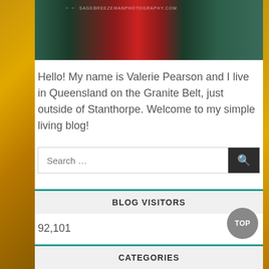[Figure (photo): Top portion of a photo of a person wearing a red outfit with colorful floral sleeves against a white background, with a watermark reading the photographer's website]
Hello! My name is Valerie Pearson and I live in Queensland on the Granite Belt, just outside of Stanthorpe. Welcome to my simple living blog!
BLOG VISITORS
92,101
CATEGORIES